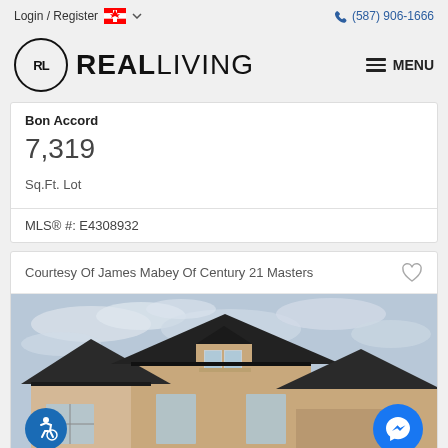Login / Register  (587) 906-1666
[Figure (logo): Real Living logo with RL monogram in circle and REALLIVING wordmark]
Bon Accord
7,319
Sq.Ft. Lot
MLS® #: E4308932
Courtesy Of James Mabey Of Century 21 Masters
[Figure (photo): Exterior photo of a two-storey house with beige stucco siding, dark roof, windows, and a cloudy sky background]